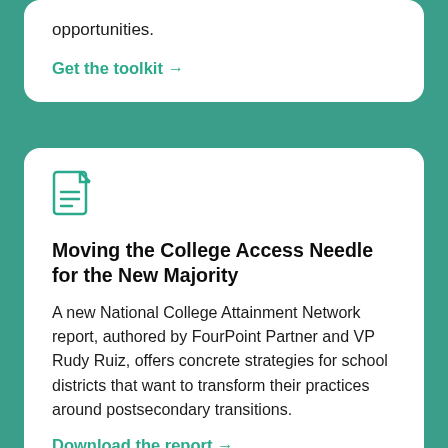opportunities.
Get the toolkit →
[Figure (illustration): Document/file icon in teal outline style]
Moving the College Access Needle for the New Majority
A new National College Attainment Network report, authored by FourPoint Partner and VP Rudy Ruiz, offers concrete strategies for school districts that want to transform their practices around postsecondary transitions.
Download the report →